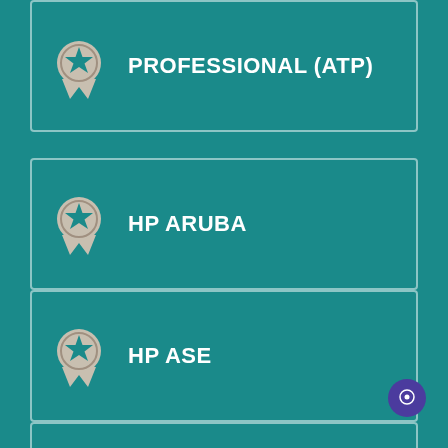PROFESSIONAL (ATP)
HP ARUBA
HP ASE
HP GLOBAL PARTNER LEARNING
[Figure (other): Chat button / support widget in bottom right corner]